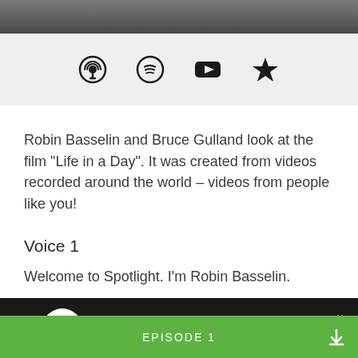[Figure (screenshot): Top dark image strip, partial photo of something mechanical]
[Figure (infographic): Icon bar with podcast, Spotify, YouTube, and star bookmark icons on light grey background]
Robin Basselin and Bruce Gulland look at the film "Life in a Day". It was created from videos recorded around the world – videos from people like you!
Voice 1
Welcome to Spotlight. I'm Robin Basselin.
[Figure (screenshot): Audio player bar: -15s, play button, +15s, progress bar, 00:00, 1x speed, on dark background]
EPISODE 1